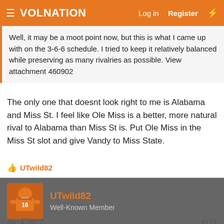VolNation | Log in | Register
Well, it may be a moot point now, but this is what I came up with on the 3-6-6 schedule. I tried to keep it relatively balanced while preserving as many rivalries as possible. View attachment 460902
The only one that doesnt look right to me is Alabama and Miss St. I feel like Ole Miss is a better, more natural rival to Alabama than Miss St is. Put Ole Miss in the Miss St slot and give Vandy to Miss State.
UTwild82
UTwild82
Well-Known Member
Jun 4, 2022
#117
Brave Volunteer said: →
The only one that doesnt look right to me is Alabama and Miss